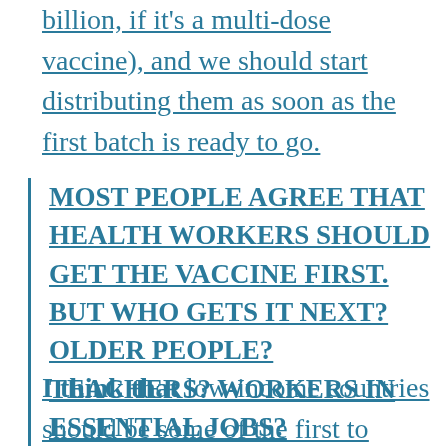billion, if it's a multi-dose vaccine), and we should start distributing them as soon as the first batch is ready to go.
MOST PEOPLE AGREE THAT HEALTH WORKERS SHOULD GET THE VACCINE FIRST. BUT WHO GETS IT NEXT? OLDER PEOPLE? TEACHERS? WORKERS IN ESSENTIAL JOBS?
I think that low-income countries should be some of the first to receive it, because people